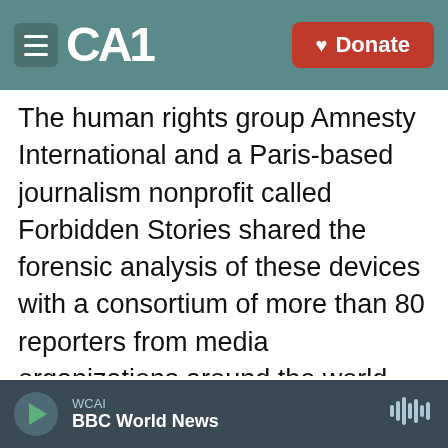CAI — Donate
The human rights group Amnesty International and a Paris-based journalism nonprofit called Forbidden Stories shared the forensic analysis of these devices with a consortium of more than 80 reporters from media organizations around the world, including The Washington Post. My guest, Craig Timberg, was one of the two coordinators of the project at the Post and one of its lead reporters. He covers technology for the Post, specializing in privacy, security and surveillance. This year, he's also been reporting on QAnon and the forum TheDonald.win, whose chatter about how to come
WCAI BBC World News